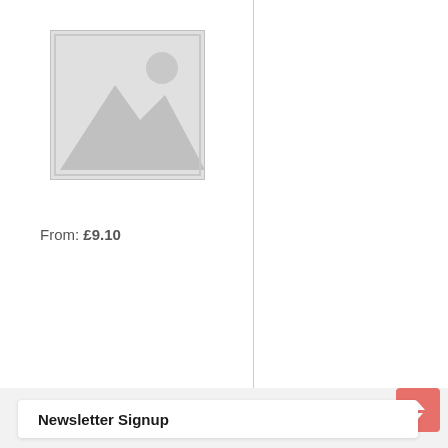[Figure (illustration): Placeholder product image with grey background showing mountain and sun icon]
From: £9.10
Newsletter Signup